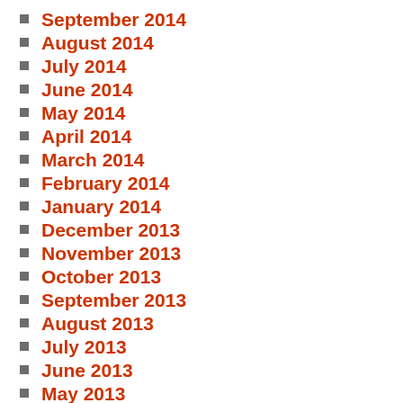September 2014
August 2014
July 2014
June 2014
May 2014
April 2014
March 2014
February 2014
January 2014
December 2013
November 2013
October 2013
September 2013
August 2013
July 2013
June 2013
May 2013